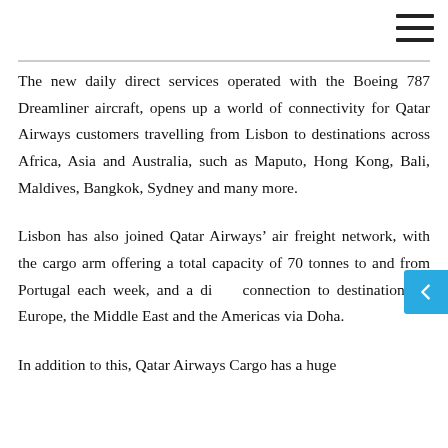The new daily direct services operated with the Boeing 787 Dreamliner aircraft, opens up a world of connectivity for Qatar Airways customers travelling from Lisbon to destinations across Africa, Asia and Australia, such as Maputo, Hong Kong, Bali, Maldives, Bangkok, Sydney and many more.
Lisbon has also joined Qatar Airways' air freight network, with the cargo arm offering a total capacity of 70 tonnes to and from Portugal each week, and a direct connection to destinations in Europe, the Middle East and the Americas via Doha.
In addition to this, Qatar Airways Cargo has a huge...